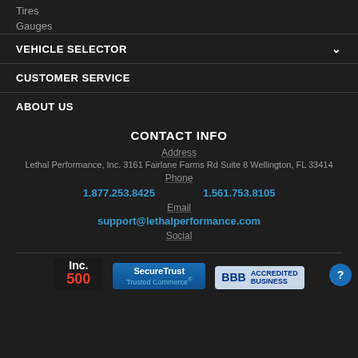Tires
Gauges
VEHICLE SELECTOR
CUSTOMER SERVICE
ABOUT US
CONTACT INFO
Address
Lethal Performance, Inc. 3161 Fairlane Farms Rd Suite 8 Wellington, FL 33414
Phone
1.877.253.8425
1.561.753.8105
Email
support@lethalperformance.com
Social
[Figure (logo): Inc. 500 logo badge]
[Figure (logo): SecureTrust Trusted Commerce badge]
[Figure (logo): BBB Accredited Business badge]